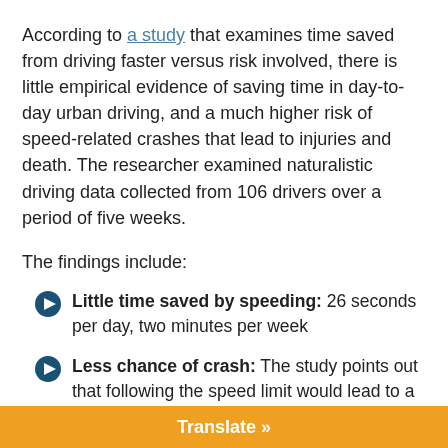According to a study that examines time saved from driving faster versus risk involved, there is little empirical evidence of saving time in day-to-day urban driving, and a much higher risk of speed-related crashes that lead to injuries and death. The researcher examined naturalistic driving data collected from 106 drivers over a period of five weeks.
The findings include:
Little time saved by speeding: 26 seconds per day, two minutes per week
Less chance of crash: The study points out that following the speed limit would lead to a 21 percent decrease in chance of injuries and a 38 percent reduction of fatalities.
The human cost: The cost of these time savings is one fatality for every 24,450 hours saved by the population on 100km/h roads in dry conditions and one injury for every 2458 hours saved
Translate »